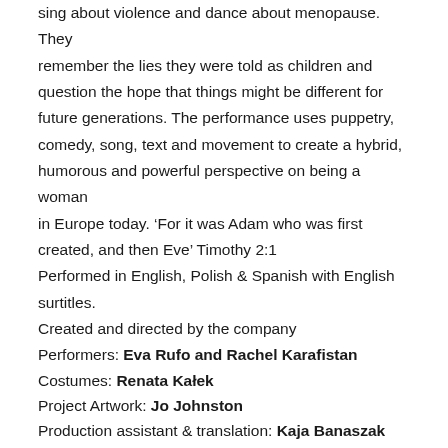sing about violence and dance about menopause. They remember the lies they were told as children and question the hope that things might be different for future generations. The performance uses puppetry, comedy, song, text and movement to create a hybrid, humorous and powerful perspective on being a woman in Europe today. ‘For it was Adam who was first created, and then Eve’ Timothy 2:1
Performed in English, Polish & Spanish with English surtitles.
Created and directed by the company
Performers: Eva Rufo and Rachel Karafistan
Costumes: Renata Kałek
Project Artwork: Jo Johnston
Production assistant & translation: Kaja Banaszak
Music: Kuba Pierzchalski
18:30 – 19-30 German premiere of Heartburn
19:30 – 20:30 Post show discussion featuring Berlin